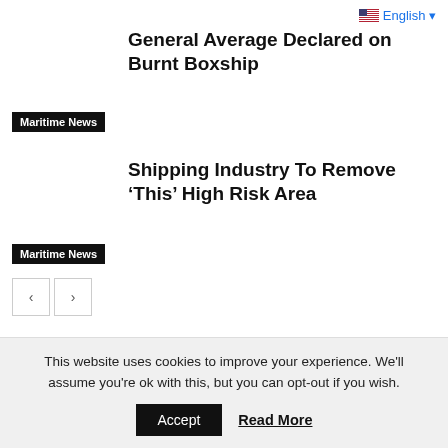🇺🇸 English ▾
General Average Declared on Burnt Boxship
Maritime News
Shipping Industry To Remove 'This' High Risk Area
Maritime News
< >
LEAVE A REPLY
Comment:
This website uses cookies to improve your experience. We'll assume you're ok with this, but you can opt-out if you wish. Accept Read More